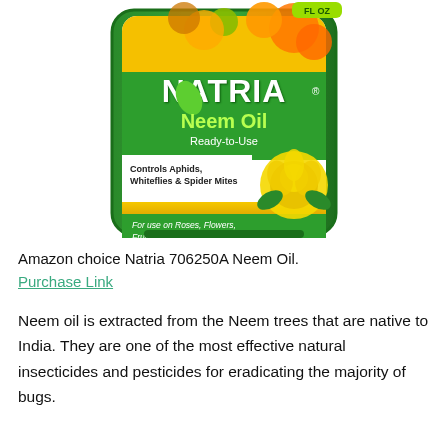[Figure (photo): Product photo of Natria Neem Oil Ready-to-Use bottle with green label showing yellow rose, fruits, and text: Controls Aphids, Whiteflies & Spider Mites; For use on Roses, Flowers, Fruits, and Vegetables.]
Amazon choice Natria 706250A Neem Oil.
Purchase Link
Neem oil is extracted from the Neem trees that are native to India. They are one of the most effective natural insecticides and pesticides for eradicating the majority of bugs.